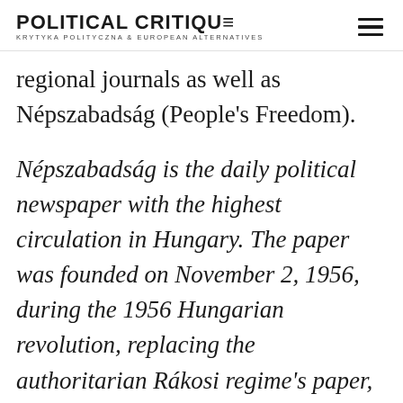POLITICAL CRITIQUE — KRYTYKA POLITYCZNA & EUROPEAN ALTERNATIVES
regional journals as well as Népszabadság (People's Freedom).
Népszabadság is the daily political newspaper with the highest circulation in Hungary. The paper was founded on November 2, 1956, during the 1956 Hungarian revolution, replacing the authoritarian Rákosi regime's paper, the Szabad Nép (Free People). Afterwards,